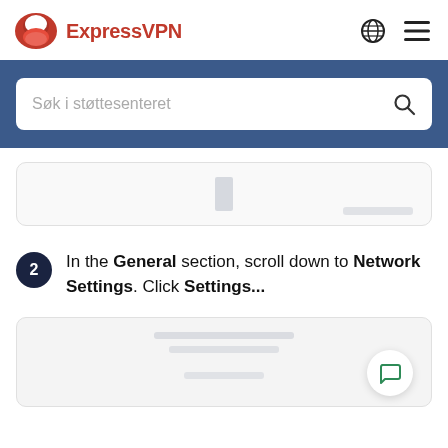[Figure (logo): ExpressVPN logo with red icon and red text 'ExpressVPN', globe icon and hamburger menu on the right]
[Figure (screenshot): Search bar with placeholder text 'Søk i støttesenteret' on a dark blue background]
[Figure (screenshot): Blurred screenshot placeholder showing a scrollbar and blurred text]
In the General section, scroll down to Network Settings. Click Settings...
[Figure (screenshot): Blurred screenshot placeholder with blurred text lines and a chat button in the bottom right corner]